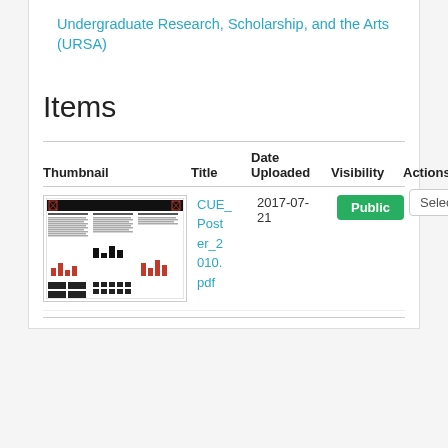Undergraduate Research, Scholarship, and the Arts (URSA)
Items
| Thumbnail | Title | Date Uploaded | Visibility | Actions |
| --- | --- | --- | --- | --- |
| [thumbnail image] | CUE_Poster_2010.pdf | 2017-07-21 | Public | Select |